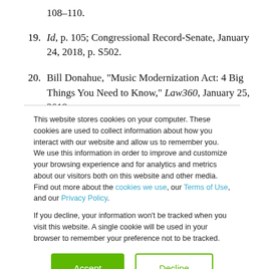108–110.
19. Id, p. 105; Congressional Record-Senate, January 24, 2018, p. S502.
20. Bill Donahue, "Music Modernization Act: 4 Big Things You Need to Know," Law360, January 25, 2018.
This website stores cookies on your computer. These cookies are used to collect information about how you interact with our website and allow us to remember you. We use this information in order to improve and customize your browsing experience and for analytics and metrics about our visitors both on this website and other media. Find out more about the cookies we use, our Terms of Use, and our Privacy Policy.

If you decline, your information won't be tracked when you visit this website. A single cookie will be used in your browser to remember your preference not to be tracked.